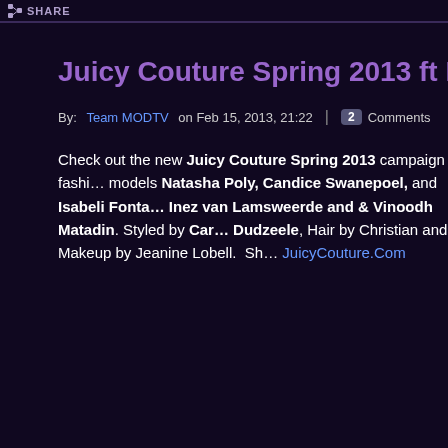SHARE
Juicy Couture Spring 2013 ft Natasha, Cand…
By: Team MODTV on Feb 15, 2013, 21:22 | 2 Comments
Check out the new Juicy Couture Spring 2013 campaign fashi… models Natasha Poly, Candice Swanepoel, and Isabeli Fonta… Inez van Lamsweerde and & Vinoodh Matadin. Styled by Car… Dudzeele, Hair by Christian and Makeup by Jeanine Lobell. Sh… JuicyCouture.Com